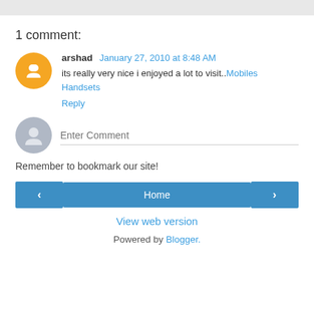1 comment:
arshad January 27, 2010 at 8:48 AM
its really very nice i enjoyed a lot to visit..Mobiles Handsets
Reply
Enter Comment
Remember to bookmark our site!
[Figure (other): Navigation buttons: left arrow, Home, right arrow]
View web version
Powered by Blogger.